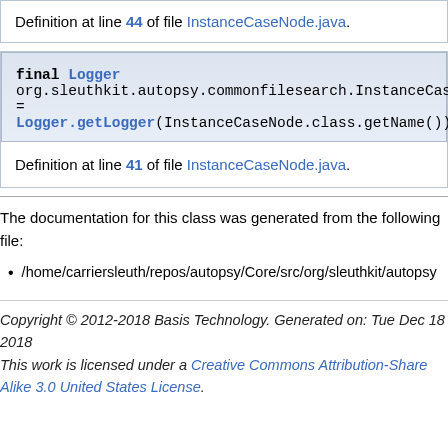Definition at line 44 of file InstanceCaseNode.java.
final Logger org.sleuthkit.autopsy.commonfilesearch.InstanceCaseNode.logger = Logger.getLogger(InstanceCaseNode.class.getName())
Definition at line 41 of file InstanceCaseNode.java.
The documentation for this class was generated from the following file:
/home/carriersleuth/repos/autopsy/Core/src/org/sleuthkit/autopsy
Copyright © 2012-2018 Basis Technology. Generated on: Tue Dec 18 2018
This work is licensed under a Creative Commons Attribution-Share Alike 3.0 United States License.